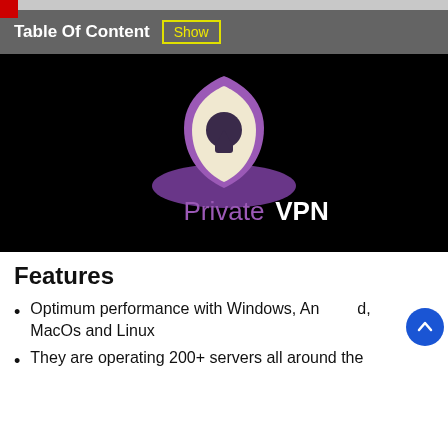Table Of Content  Show
[Figure (logo): PrivateVPN logo on black background — a purple shield with keyhole icon above a purple shadow/base, with the text 'PrivateVPN' in purple and white below]
Features
Optimum performance with Windows, Android, MacOs and Linux
They are operating 200+ servers all around the